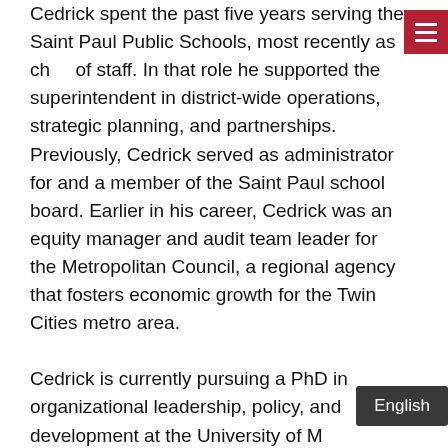Cedrick spent the past five years serving the Saint Paul Public Schools, most recently as chief of staff. In that role he supported the superintendent in district-wide operations, strategic planning, and partnerships. Previously, Cedrick served as administrator for and a member of the Saint Paul school board. Earlier in his career, Cedrick was an equity manager and audit team leader for the Metropolitan Council, a regional agency that fosters economic growth for the Twin Cities metro area.
Cedrick is currently pursuing a PhD in organizational leadership, policy, and development at the University of M[innesota]. He holds a master's in public administ[ration from]...